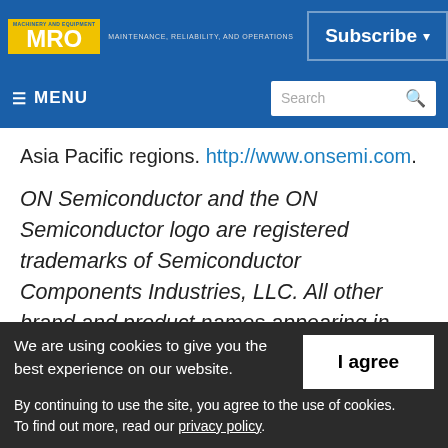MRO - MAINTENANCE, RELIABILITY, AND OPERATIONS | Subscribe
≡ MENU | Search
Asia Pacific regions. http://www.onsemi.com.
ON Semiconductor and the ON Semiconductor logo are registered trademarks of Semiconductor Components Industries, LLC. All other brand and product names appearing in this document are registered trademarks or
We are using cookies to give you the best experience on our website. By continuing to use the site, you agree to the use of cookies. To find out more, read our privacy policy.